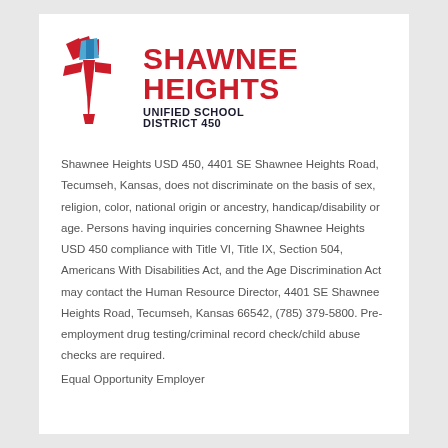[Figure (logo): Shawnee Heights Unified School District 450 logo with torch graphic (red and blue) and bold red text 'SHAWNEE HEIGHTS' with dark subtitle 'UNIFIED SCHOOL DISTRICT 450']
Shawnee Heights USD 450, 4401 SE Shawnee Heights Road, Tecumseh, Kansas, does not discriminate on the basis of sex, religion, color, national origin or ancestry, handicap/disability or age. Persons having inquiries concerning Shawnee Heights USD 450 compliance with Title VI, Title IX, Section 504, Americans With Disabilities Act, and the Age Discrimination Act may contact the Human Resource Director, 4401 SE Shawnee Heights Road, Tecumseh, Kansas 66542, (785) 379-5800. Pre-employment drug testing/criminal record check/child abuse checks are required.
Equal Opportunity Employer